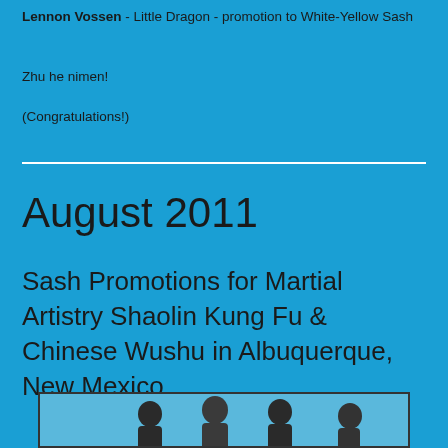Lennon Vossen - Little Dragon - promotion to White-Yellow Sash
Zhu he nimen!
(Congratulations!)
August 2011
Sash Promotions for Martial Artistry Shaolin Kung Fu & Chinese Wushu in Albuquerque, New Mexico
[Figure (photo): Group photo of people standing against a blue background, partially visible at bottom of page]